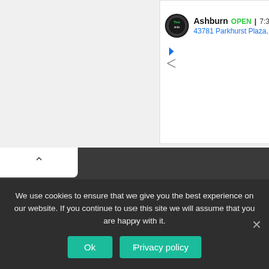[Figure (screenshot): Advertisement panel showing Tire Auto store in Ashburn with OPEN status, time 7:30A, address 43781 Parkhurst Plaza]
Pets
Popular
Short Stories
True Life
Uncategorized
We use cookies to ensure that we give you the best experience on our website. If you continue to use this site we will assume that you are happy with it.